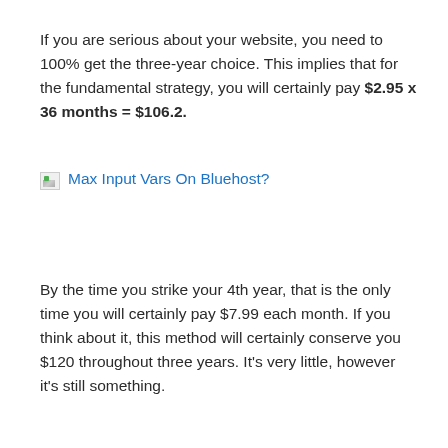If you are serious about your website, you need to 100% get the three-year choice. This implies that for the fundamental strategy, you will certainly pay $2.95 x 36 months = $106.2.
[Figure (screenshot): Broken image placeholder with link text 'Max Input Vars On Bluehost?']
By the time you strike your 4th year, that is the only time you will certainly pay $7.99 each month. If you think about it, this method will certainly conserve you $120 throughout three years. It's very little, however it's still something.